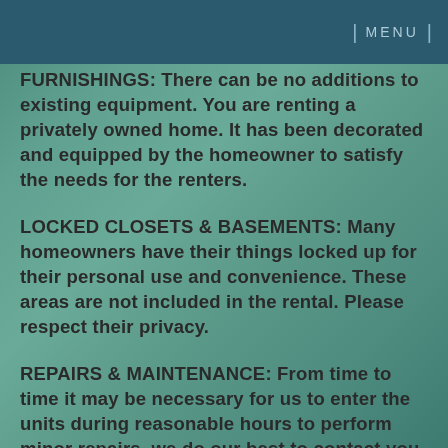MENU
FURNISHINGS: There can be no additions to existing equipment. You are renting a privately owned home. It has been decorated and equipped by the homeowner to satisfy the needs for the renters.
LOCKED CLOSETS & BASEMENTS: Many homeowners have their things locked up for their personal use and convenience. These areas are not included in the rental. Please respect their privacy.
REPAIRS & MAINTENANCE: From time to time it may be necessary for us to enter the units during reasonable hours to perform minor repairs, we do our best to contact you prior but it is not always